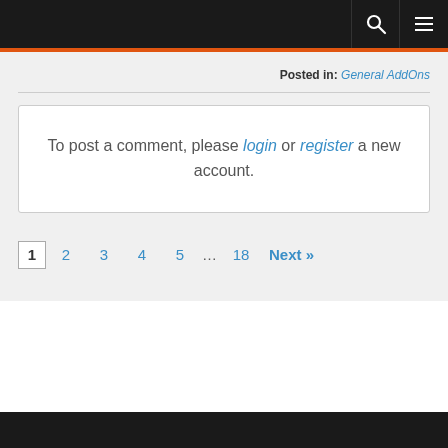Posted in: General AddOns
To post a comment, please login or register a new account.
1  2  3  4  5  ...  18  Next »